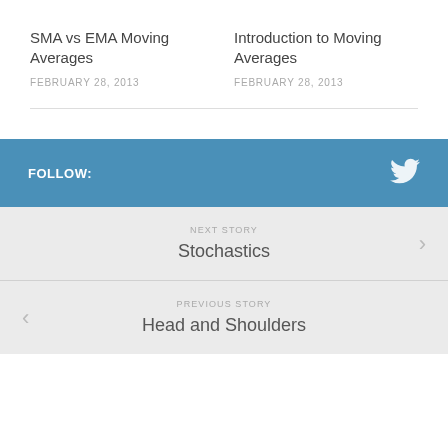SMA vs EMA Moving Averages
FEBRUARY 28, 2013
Introduction to Moving Averages
FEBRUARY 28, 2013
FOLLOW:
NEXT STORY
Stochastics
PREVIOUS STORY
Head and Shoulders